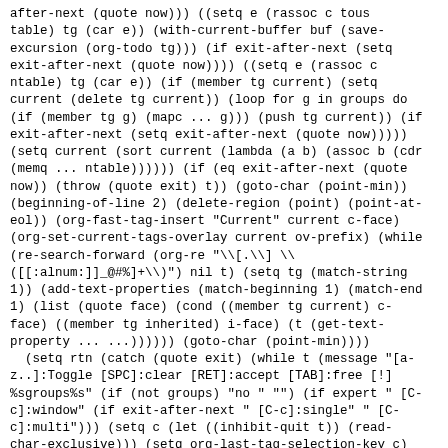after-next (quote now))) ((setq e (rassoc c tous table) tg (car e)) (with-current-buffer buf (save-excursion (org-todo tg))) (if exit-after-next (setq exit-after-next (quote now)))) ((setq e (rassoc c ntable) tg (car e)) (if (member tg current) (setq current (delete tg current)) (loop for g in groups do (if (member tg g) (mapc ... g))) (push tg current)) (if exit-after-next (setq exit-after-next (quote now))))) (setq current (sort current (lambda (a b) (assoc b (cdr (memq ... ntable)))))) (if (eq exit-after-next (quote now)) (throw (quote exit) t)) (goto-char (point-min)) (beginning-of-line 2) (delete-region (point) (point-at-eol)) (org-fast-tag-insert "Current" current c-face) (org-set-current-tags-overlay current ov-prefix) (while (re-search-forward (org-re "\\[.\\] \\ ([[:alnum:]]_@#%]+\\)") nil t) (setq tg (match-string 1)) (add-text-properties (match-beginning 1) (match-end 1) (list (quote face) (cond ((member tg current) c-face) ((member tg inherited) i-face) (t (get-text-property ... ...)))))) (goto-char (point-min)))) (setq rtn (catch (quote exit) (while t (message "[a-z..]:Toggle [SPC]:clear [RET]:accept [TAB]:free [!] %sgroups%s" (if (not groups) "no " "") (if expert " [C-c]:window" (if exit-after-next " [C-c]:single" " [C-c]:multi"))) (setq c (let ((inhibit-quit t)) (read-char-exclusive))) (setq org-last-tag-selection-key c) (cond ((= c 13) (throw (quote exit) t)) ((= c 33) (setq groups (not groups)) (goto-char (point-min)) (while (re-search-forward "[{}]" nil t) (replace-match " "))) ((= c 3) (if (not expert) (org-fast-tag-show-exit (setq exit-after-next ...)) (setq expert nil) (delete-other